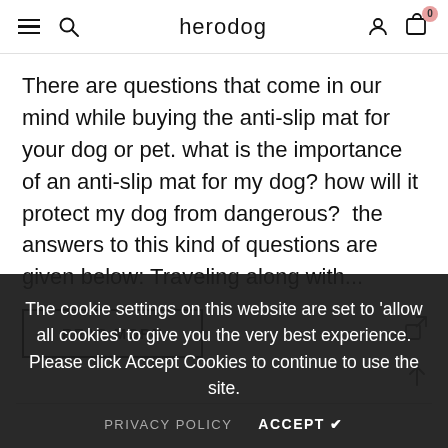herodog
There are questions that come in our mind while buying the anti-slip mat for your dog or pet. what is the importance of an anti-slip mat for my dog? how will it protect my dog from dangerous?  the answers to this kind of questions are given below: Traveling along with...
READ MORE
The cookie settings on this website are set to 'allow all cookies' to give you the very best experience. Please click Accept Cookies to continue to use the site.
PRIVACY POLICY   ACCEPT ✔